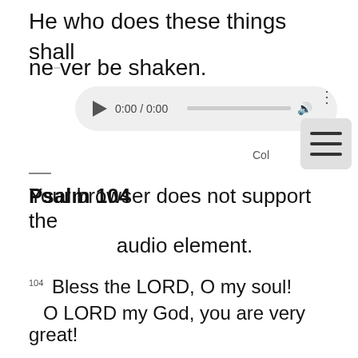He who does these things shall never be shaken.
[Figure (screenshot): Browser audio player UI showing 0:00 / 0:00 with play button, progress bar, volume icon, and more options dots. Overlaid on the page text.]
[Figure (screenshot): Hamburger menu button (three horizontal lines) in a rounded rectangle, grey background.]
Con
Psalm 104
Your browser does not support the audio element.
104  Bless the LORD, O my soul!
    O LORD my God, you are very great!
  You are clothed with splendor and majesty,